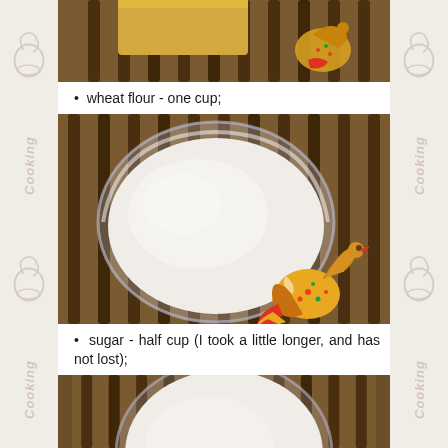[Figure (photo): Top portion of a photo showing ingredients on a wooden slatted mat with decorative bird ornament, partially cropped]
• wheat flour - one cup;
[Figure (photo): A glass bowl filled with white flour/sugar on a dark wooden slatted mat, with a decorative folk-art style bird (firebird) ornament in the lower right]
• sugar - half cup (I took a little longer, and has not lost);
[Figure (photo): A glass bowl partially visible at bottom of frame on a wooden slatted mat, showing white sugar/flour inside]